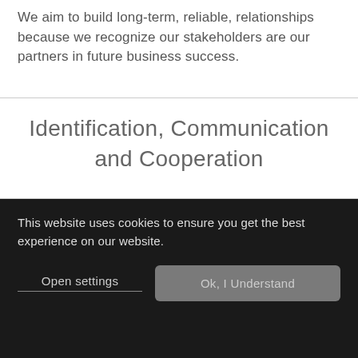We aim to build long-term, reliable, relationships because we recognize our stakeholders are our partners in future business success.
Identification, Communication and Cooperation
[Figure (photo): Blurred office or meeting room background photo with warm amber tones on the right side and a dark rounded object visible in the lower center.]
This website uses cookies to ensure you get the best experience on our website.
Open settings
Ok, I Understand